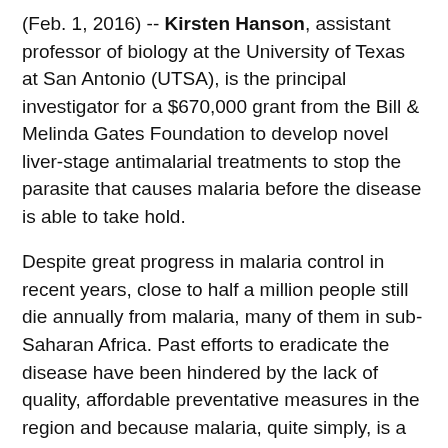(Feb. 1, 2016) -- Kirsten Hanson, assistant professor of biology at the University of Texas at San Antonio (UTSA), is the principal investigator for a $670,000 grant from the Bill & Melinda Gates Foundation to develop novel liver-stage antimalarial treatments to stop the parasite that causes malaria before the disease is able to take hold.
Despite great progress in malaria control in recent years, close to half a million people still die annually from malaria, many of them in sub-Saharan Africa. Past efforts to eradicate the disease have been hindered by the lack of quality, affordable preventative measures in the region and because malaria, quite simply, is a very tricky disease. In the context of current efforts to eradicate malaria, new prophylactic drugs will be needed to protect people living in areas that currently have a substantial malaria burden.
“An American traveling in a place like Gabon, in West Africa, would need to take a prophylactic drug to prevent malaria,” Hanson said. “On the other hand, a Gabonese woman, who has